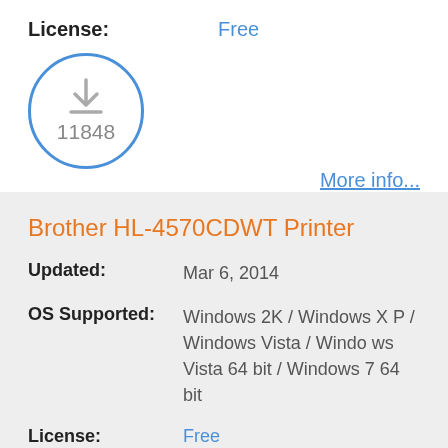License: Free
[Figure (infographic): Download icon inside a blue circle with count 11848 below it]
More info...
Brother HL-4570CDWT Printer
Updated: Mar 6, 2014
OS Supported: Windows 2K / Windows XP / Windows Vista / Windows Vista 64 bit / Windows 7 64 bit
License: Free